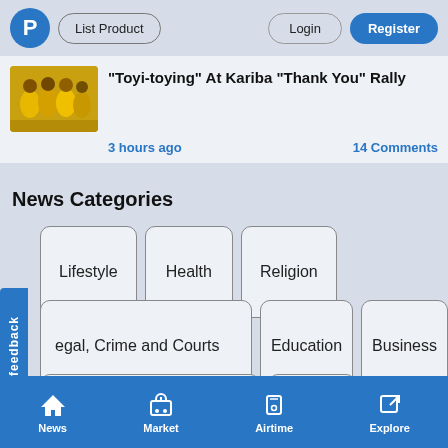P | List Product | Login | Register
"Toyi-toying" At Kariba "Thank You" Rally
3 hours ago    14 Comments
News Categories
Lifestyle
Health
Religion
Legal, Crime and Courts
Education
Business
Politics and Governance
World
News | Market | Airtime | Explore